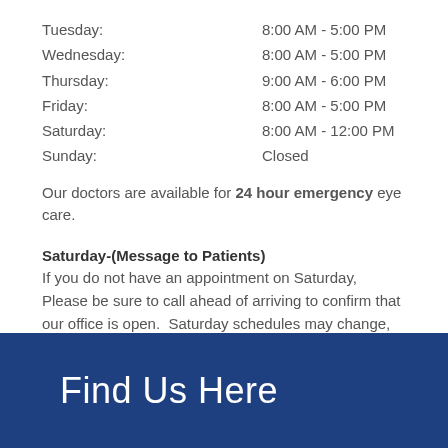Tuesday: 8:00 AM - 5:00 PM
Wednesday: 8:00 AM - 5:00 PM
Thursday: 9:00 AM - 6:00 PM
Friday: 8:00 AM - 5:00 PM
Saturday: 8:00 AM - 12:00 PM
Sunday: Closed
Our doctors are available for 24 hour emergency eye care.
Saturday-(Message to Patients)
If you do not have an appointment on Saturday, Please be sure to call ahead of arriving to confirm that our office is open.  Saturday schedules may change, we apologize for any inconvenience.
Find Us Here